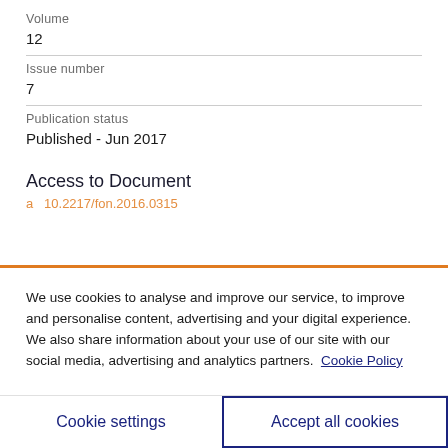Volume
12
Issue number
7
Publication status
Published - Jun 2017
Access to Document
10.2217/fon.2016.0315
We use cookies to analyse and improve our service, to improve and personalise content, advertising and your digital experience. We also share information about your use of our site with our social media, advertising and analytics partners.  Cookie Policy
Cookie settings
Accept all cookies